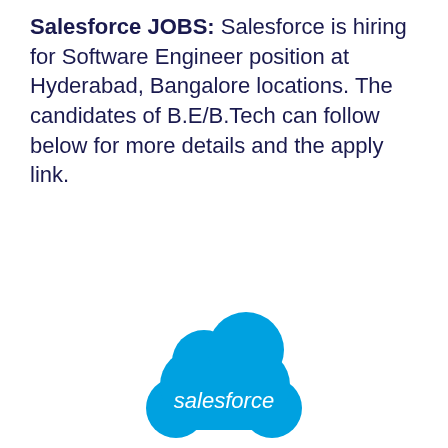Salesforce JOBS: Salesforce is hiring for Software Engineer position at Hyderabad, Bangalore locations. The candidates of B.E/B.Tech can follow below for more details and the apply link.
[Figure (logo): Salesforce logo: a blue cloud shape with the word 'salesforce' in white text inside it]